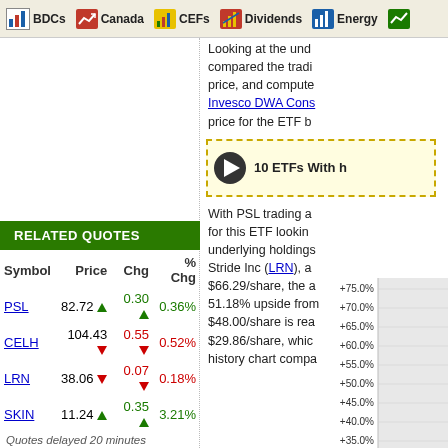BDCs | Canada | CEFs | Dividends | Energy | E...
Looking at the under... compared the trading price, and computed... Invesco DWA Cons... price for the ETF b...
[Figure (other): Video thumbnail with play button and label '10 ETFs With...']
With PSL trading a... for this ETF looking... underlying holdings... Stride Inc (LRN), a... $66.29/share, the a... 51.18% upside from... $48.00/share is rea... $29.86/share, whic... history chart compa...
RELATED QUOTES
| Symbol | Price | Chg | % Chg |
| --- | --- | --- | --- |
| PSL | 82.72 ▲ | 0.30 ▲ | 0.36% |
| CELH | 104.43 ▼ | 0.55 ▼ | 0.52% |
| LRN | 38.06 ▼ | 0.07 ▼ | 0.18% |
| SKIN | 11.24 ▲ | 0.35 ▲ | 3.21% |
Quotes delayed 20 minutes
[Figure (continuous-plot): Partial chart showing y-axis labels: +75.0%, +70.0%, +65.0%, +60.0%, +55.0%, +50.0%, +45.0%, +40.0%, +35.0%]